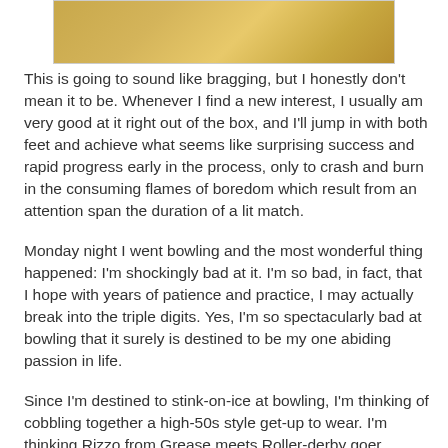[Figure (photo): A photograph with golden/amber tones, appearing to show a textured surface. A small signature or text appears in the lower left area of the image.]
This is going to sound like bragging, but I honestly don't mean it to be. Whenever I find a new interest, I usually am very good at it right out of the box, and I'll jump in with both feet and achieve what seems like surprising success and rapid progress early in the process, only to crash and burn in the consuming flames of boredom which result from an attention span the duration of a lit match.
Monday night I went bowling and the most wonderful thing happened: I'm shockingly bad at it. I'm so bad, in fact, that I hope with years of patience and practice, I may actually break into the triple digits. Yes, I'm so spectacularly bad at bowling that it surely is destined to be my one abiding passion in life.
Since I'm destined to stink-on-ice at bowling, I'm thinking of cobbling together a high-50s style get-up to wear. I'm thinking Rizzo from Grease meets Roller-derby goer